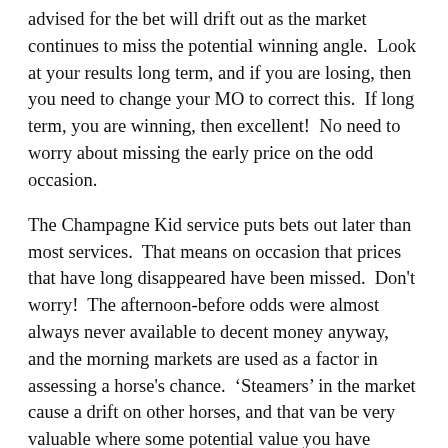advised for the bet will drift out as the market continues to miss the potential winning angle.  Look at your results long term, and if you are losing, then you need to change your MO to correct this.  If long term, you are winning, then excellent!  No need to worry about missing the early price on the odd occasion.
The Champagne Kid service puts bets out later than most services.  That means on occasion that prices that have long disappeared have been missed.  Don't worry!  The afternoon-before odds were almost always never available to decent money anyway, and the morning markets are used as a factor in assessing a horse's chance.  'Steamers' in the market cause a drift on other horses, and that van be very valuable where some potential value you have already identified becomes even greater value.
Take the long-term view.  This is the advice you are given when you join a service on the Betfan platform, and it is important advice that every punter should take heed of.  And so to conclude, 'getting the value' is not a one-off scramble to take the